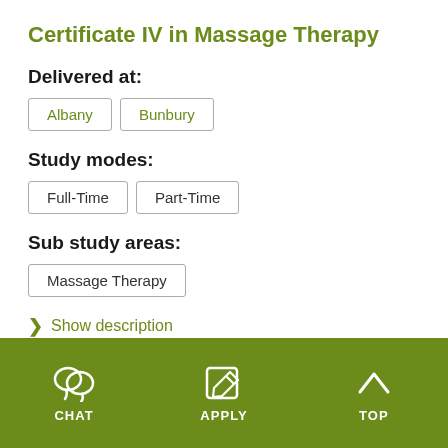Certificate IV in Massage Therapy
Delivered at:
Albany
Bunbury
Study modes:
Full-Time
Part-Time
Sub study areas:
Massage Therapy
Show description
CHAT  APPLY  TOP